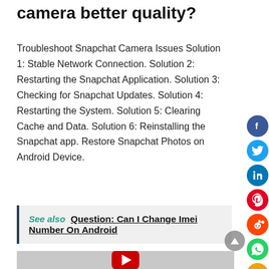camera better quality?
Troubleshoot Snapchat Camera Issues Solution 1: Stable Network Connection. Solution 2: Restarting the Snapchat Application. Solution 3: Checking for Snapchat Updates. Solution 4: Restarting the System. Solution 5: Clearing Cache and Data. Solution 6: Reinstalling the Snapchat app. Restore Snapchat Photos on Android Device.
See also  Question: Can I Change Imei Number On Android
[Figure (screenshot): YouTube video thumbnail with play button on grey background]